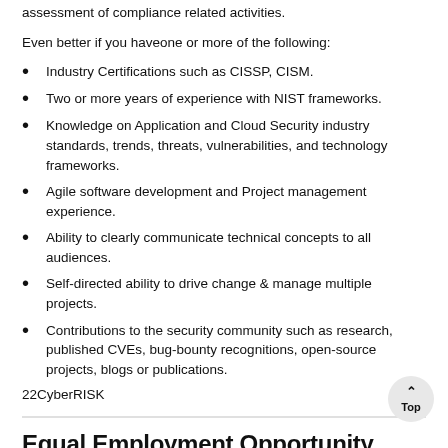assessment of compliance related activities.
Even better if you haveone or more of the following:
Industry Certifications such as CISSP, CISM.
Two or more years of experience with NIST frameworks.
Knowledge on Application and Cloud Security industry standards, trends, threats, vulnerabilities, and technology frameworks.
Agile software development and Project management experience.
Ability to clearly communicate technical concepts to all audiences.
Self-directed ability to drive change & manage multiple projects.
Contributions to the security community such as research, published CVEs, bug-bounty recognitions, open-source projects, blogs or publications.
22CyberRISK
Equal Employment Opportunity
We're proud to be an equal opportunity employer - and